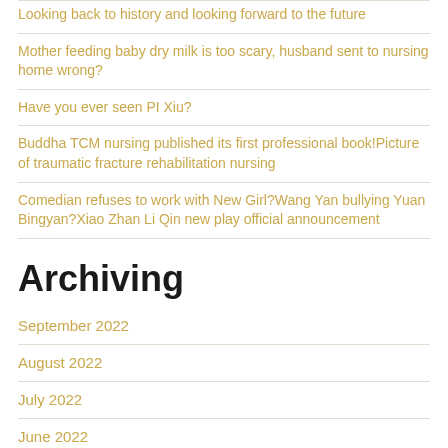Looking back to history and looking forward to the future
Mother feeding baby dry milk is too scary, husband sent to nursing home wrong?
Have you ever seen PI Xiu?
Buddha TCM nursing published its first professional book!Picture of traumatic fracture rehabilitation nursing
Comedian refuses to work with New Girl?Wang Yan bullying Yuan Bingyan?Xiao Zhan Li Qin new play official announcement
Archiving
September 2022
August 2022
July 2022
June 2022